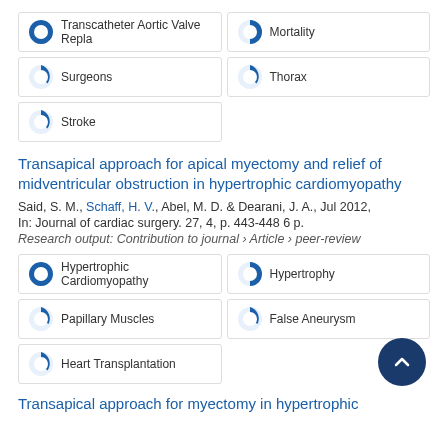100% Transcatheter Aortic Valve Repla
60% Mortality
20% Surgeons
20% Thorax
20% Stroke
Transapical approach for apical myectomy and relief of midventricular obstruction in hypertrophic cardiomyopathy
Said, S. M., Schaff, H. V., Abel, M. D. & Dearani, J. A., Jul 2012, In: Journal of cardiac surgery. 27, 4, p. 443-448 6 p.
Research output: Contribution to journal › Article › peer-review
100% Hypertrophic Cardiomyopathy
60% Hypertrophy
30% Papillary Muscles
30% False Aneurysm
20% Heart Transplantation
Transapical approach for myectomy in hypertrophic